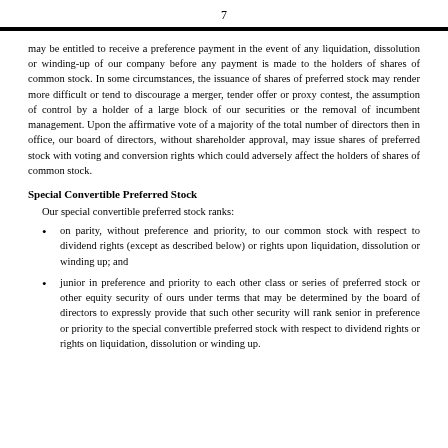7
may be entitled to receive a preference payment in the event of any liquidation, dissolution or winding-up of our company before any payment is made to the holders of shares of common stock. In some circumstances, the issuance of shares of preferred stock may render more difficult or tend to discourage a merger, tender offer or proxy contest, the assumption of control by a holder of a large block of our securities or the removal of incumbent management. Upon the affirmative vote of a majority of the total number of directors then in office, our board of directors, without shareholder approval, may issue shares of preferred stock with voting and conversion rights which could adversely affect the holders of shares of common stock.
Special Convertible Preferred Stock
Our special convertible preferred stock ranks:
on parity, without preference and priority, to our common stock with respect to dividend rights (except as described below) or rights upon liquidation, dissolution or winding up; and
junior in preference and priority to each other class or series of preferred stock or other equity security of ours under terms that may be determined by the board of directors to expressly provide that such other security will rank senior in preference or priority to the special convertible preferred stock with respect to dividend rights or rights on liquidation, dissolution or winding up.